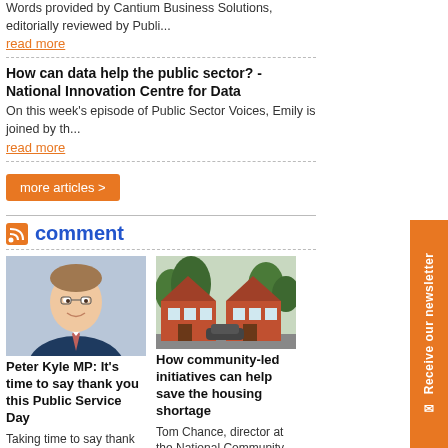Words provided by Cantium Business Solutions, editorially reviewed by Publi...
read more
How can data help the public sector? - National Innovation Centre for Data
On this week's episode of Public Sector Voices, Emily is joined by th...
read more
more articles >
comment
[Figure (photo): Headshot of Peter Kyle MP, a man in a suit smiling]
Peter Kyle MP: It's time to say thank you this Public Service Day
Taking time to say thank you is one of the hidden pillars of a society. Bei...
[Figure (photo): Photo of red brick houses on a residential street]
How community-led initiatives can help save the housing shortage
Tom Chance, director at the National Community